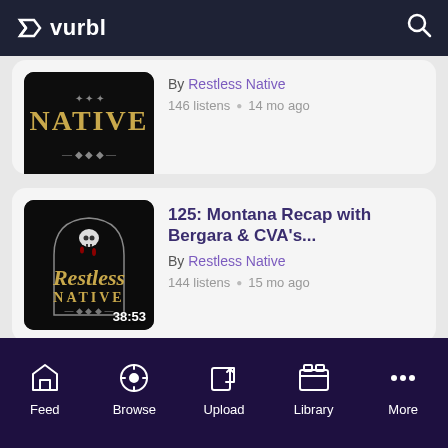vurbl
[Figure (screenshot): Partial podcast episode card showing Restless Native artwork, duration 53:02, with text 'By Restless Native', '146 listens • 14 mo ago']
[Figure (screenshot): Podcast episode card: '125: Montana Recap with Bergara & CVA's...' By Restless Native, 144 listens • 15 mo ago, duration 38:53, with Restless Native skull logo artwork]
Feed  Browse  Upload  Library  More